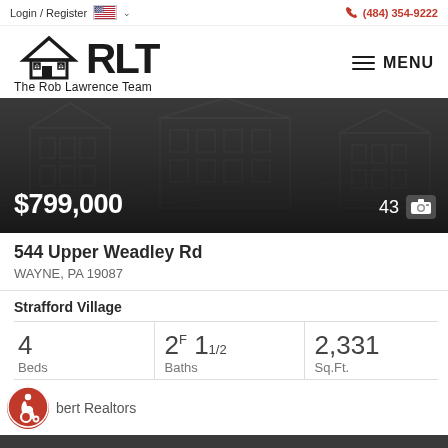Login / Register  (484) 354-9222
[Figure (logo): RLT - The Rob Lawrence Team real estate logo with house icon]
MENU
[Figure (photo): Dark property hero image of a house with price $799,000 and 43 photos indicator]
$799,000
43
544 Upper Weadley Rd
WAYNE, PA 19087
Strafford Village
| Beds | Baths | Sq.Ft. |
| --- | --- | --- |
| 4 | 2F 11/2 | 2,331 |
bert Realtors
[Figure (logo): Red accessibility wheelchair icon]